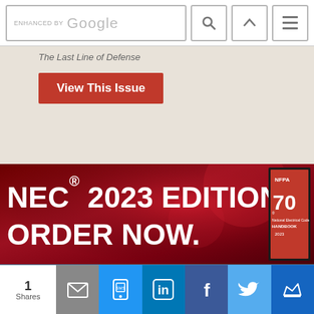[Figure (screenshot): Google search bar with 'ENHANCED BY Google' text, search icon button, up-arrow icon button, and hamburger menu icon button]
The Last Line of Defense
[Figure (screenshot): Red 'View This Issue' button on beige background]
[Figure (infographic): NEC 2023 Edition advertisement banner. Dark red background with text 'NEC 2023 EDITION. ORDER NOW.' in large white bold font. NFPA 70 National Electrical Code Handbook 2023 shown on right side.]
[Figure (logo): Environmental Protection magazine logo in white on steel blue background. Large 'Environmental' text with 'PROTECTION' in spaced capitals below.]
[Figure (screenshot): Social sharing bar showing: '1 Shares', email icon, SMS/mobile icon (blue), LinkedIn icon (blue), Facebook icon (blue), Twitter icon (light blue), crown/bookmark icon (dark blue)]